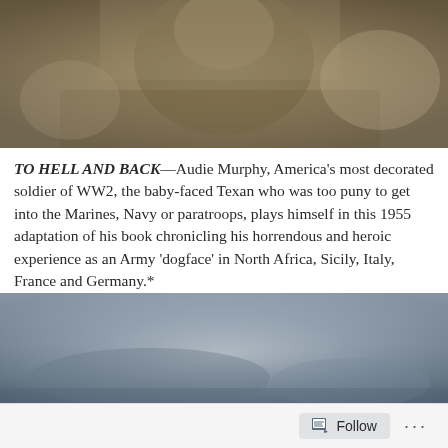[Figure (photo): Partial photo of a soldier in military uniform, cropped at top]
TO HELL AND BACK—Audie Murphy, America's most decorated soldier of WW2, the baby-faced Texan who was too puny to get into the Marines, Navy or paratroops, plays himself in this 1955 adaptation of his book chronicling his horrendous and heroic experience as an Army 'dogface' in North Africa, Sicily, Italy, France and Germany.*
The 1949 book was excellent (I bet I read it six or seven times as a kid), packed not just with action incident, but also with sardonic byplay from Murphy's pals, binds that tear the reader when they are broken as the men become casualties.
[Figure (photo): Bottom photo partially visible, appears to show military/war scene with muted blue-grey tones]
Follow ...